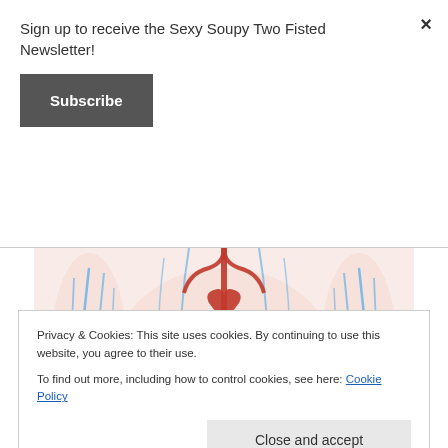Sign up to receive the Sexy Soupy Two Fisted Newsletter!
Subscribe
[Figure (illustration): Medical illustration of the human circulatory system showing arteries (red) and veins (blue) in the torso and arms, front view of a transparent human body]
Your heart contracts (or pumps) rhythmically every second of every day of every year of your life. The force of the
Privacy & Cookies: This site uses cookies. By continuing to use this website, you agree to their use.
To find out more, including how to control cookies, see here: Cookie Policy
Close and accept